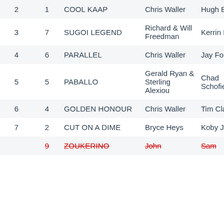|  | Num | Horse | Trainer | Jockey |
| --- | --- | --- | --- | --- |
| 2 | 1 | COOL KAAP | Chris Waller | Hugh Bowman |
| 3 | 7 | SUGOI LEGEND | Richard & Will Freedman | Kerrin McEvoy |
| 4 | 6 | PARALLEL | Chris Waller | Jay Ford |
| 5 | 5 | PABALLO | Gerald Ryan & Sterling Alexiou | Chad Schofield |
| 6 | 4 | GOLDEN HONOUR | Chris Waller | Tim Clark |
| 7 | 2 | CUT ON A DIME | Bryce Heys | Koby Jennings |
|  | 9 | ZOUKERINO | John ... | Sam ... |